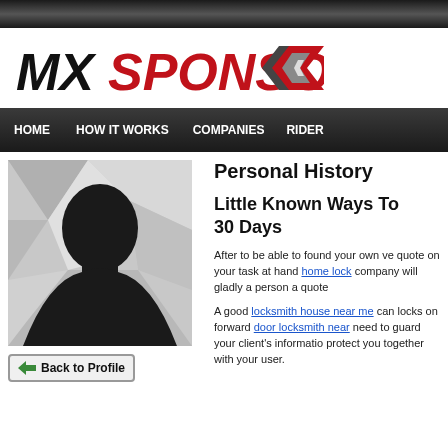MX SPONSOR
[Figure (logo): MXSponsor logo with italic black MX and red SPONSOR text, followed by a chevron/star emblem in red and grey]
HOME  HOW IT WORKS  COMPANIES  RIDER
[Figure (photo): Silhouette of a person's head and shoulders against a geometric grey background pattern]
Back to Profile
Personal History
Little Known Ways To 30 Days
After to be able to found your own ve quote on your task at hand home lock company will gladly a person a quote
A good locksmith house near me can locks on forward door locksmith near need to guard your client's informatio protect you together with your user.